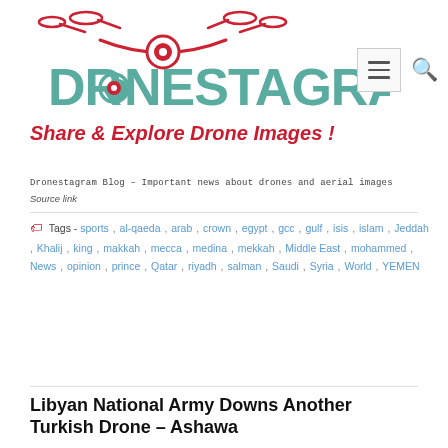[Figure (logo): Dronestagram logo with drone icon above text DRONESTAGRAM in teal/red colors]
Share & Explore Drone Images !
Dronestagram Blog – Important news about drones and aerial images
Source link
Tags - sports , al-qaeda , arab , crown , egypt , gcc , gulf , isis , islam , Jeddah , Khalij , king , makkah , mecca , medina , mekkah , Middle East , mohammed , News , opinion , prince , Qatar , riyadh , salman , Saudi , Syria , World , YEMEN
Libyan National Army Downs Another Turkish Drone – Ashawa